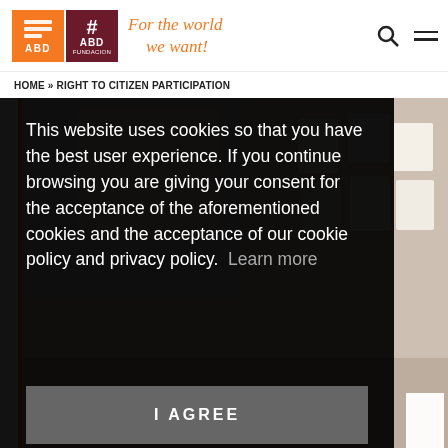[Figure (logo): ABD orange logo and ABD Fundacion dark red logo with tagline 'For the world we want!']
HOME » RIGHT TO CITIZEN PARTICIPATION
[Figure (photo): Photo of a classroom or activity room with papers/posters on wall, partially visible behind cookie consent overlay]
This website uses cookies so that you have the best user experience. If you continue browsing you are giving your consent for the acceptance of the aforementioned cookies and the acceptance of our cookie policy and privacy policy. Learn more
I AGREE